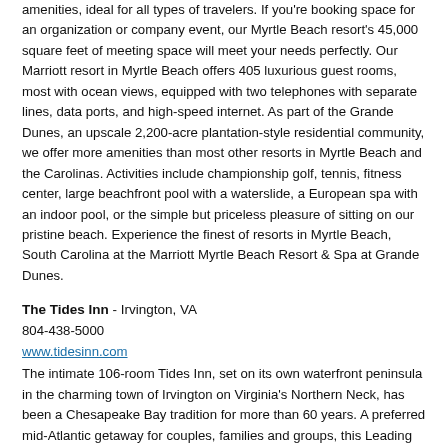amenities, ideal for all types of travelers. If you're booking space for an organization or company event, our Myrtle Beach resort's 45,000 square feet of meeting space will meet your needs perfectly. Our Marriott resort in Myrtle Beach offers 405 luxurious guest rooms, most with ocean views, equipped with two telephones with separate lines, data ports, and high-speed internet. As part of the Grande Dunes, an upscale 2,200-acre plantation-style residential community, we offer more amenities than most other resorts in Myrtle Beach and the Carolinas. Activities include championship golf, tennis, fitness center, large beachfront pool with a waterslide, a European spa with an indoor pool, or the simple but priceless pleasure of sitting on our pristine beach. Experience the finest of resorts in Myrtle Beach, South Carolina at the Marriott Myrtle Beach Resort & Spa at Grande Dunes.
The Tides Inn - Irvington, VA
804-438-5000
www.tidesinn.com
The intimate 106-room Tides Inn, set on its own waterfront peninsula in the charming town of Irvington on Virginia's Northern Neck, has been a Chesapeake Bay tradition for more than 60 years. A preferred mid-Atlantic getaway for couples, families and groups, this Leading